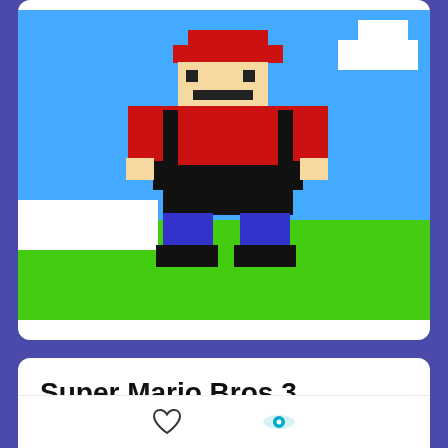[Figure (illustration): Pixel art of Mario character (8-bit style) from Super Mario Bros, showing Mario with red hat, red shirt, black overalls, on a green ground with blue sky and white clouds]
Super Mario Bros 3
Minecraft Item for Minecraft Java Edition | by cci
Super Mario Bros 3 was remixed from Sword.
REMIX ITEM